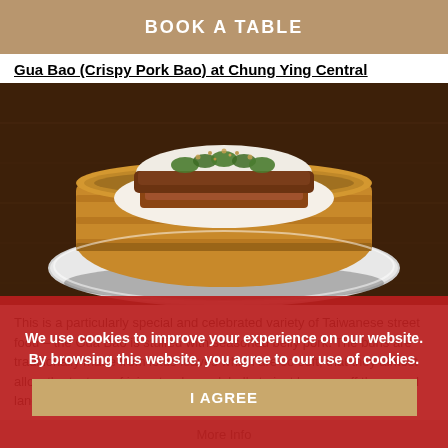BOOK A TABLE
Gua Bao (Crispy Pork Bao) at Chung Ying Central
[Figure (photo): A steamed bao bun filled with crispy pork belly, topped with green vegetables and breadcrumbs, served in a bamboo steamer basket on a white plate, on a dark wooden table.]
This is a particularly special and celebrated variety of Taiwanese street food – the Gua Bao is stuffed with seasoned belly pork. The buns are traditionally made from lotus leaves which are so soft, that they almost allow the texture of juicy, tender pork belly to just bounce off them, and land on your taste buds with
We use cookies to improve your experience on our website. By browsing this website, you agree to our use of cookies.
I AGREE
More Info